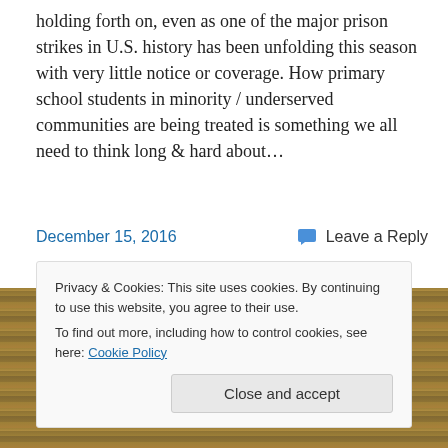holding forth on, even as one of the major prison strikes in U.S. history has been unfolding this season with very little notice or coverage. How primary school students in minority / underserved communities are being treated is something we all need to think long & hard about…
December 15, 2016
Leave a Reply
Privacy & Cookies: This site uses cookies. By continuing to use this website, you agree to their use.
To find out more, including how to control cookies, see here: Cookie Policy
Close and accept